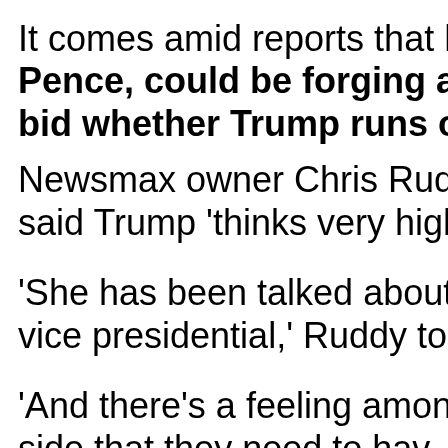It comes amid reports that h Pence, could be forging al bid whether Trump runs o
Newsmax owner Chris Rudd said Trump 'thinks very high
'She has been talked about vice presidential,' Ruddy told
'And there's a feeling among side that they need to hav